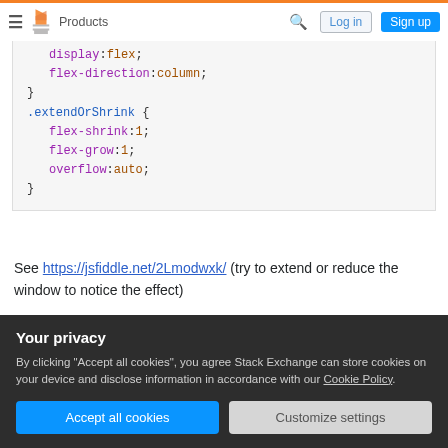≡ [Stack Overflow Logo] Products 🔍 Log in Sign up
[Figure (screenshot): CSS code block showing flex properties: display:flex; flex-direction:column; .extendOrShrink { flex-shrink:1; flex-grow:1; overflow:auto; }]
See https://jsfiddle.net/2Lmodwxk/ (try to extend or reduce the window to notice the effect)
Note: you may also use the shorthand property:
Your privacy
By clicking "Accept all cookies", you agree Stack Exchange can store cookies on your device and disclose information in accordance with our Cookie Policy.
[Accept all cookies] [Customize settings]